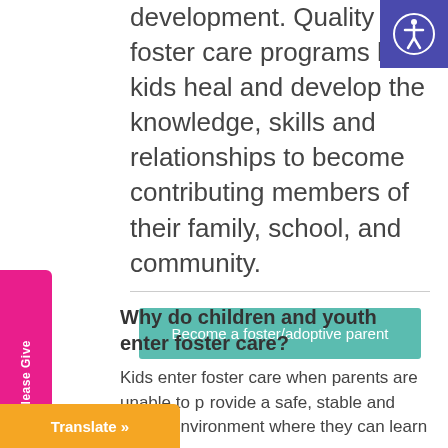development. Quality foster care programs help kids heal and develop the knowledge, skills and relationships to become contributing members of their family, school, and community.
[Figure (other): Accessibility icon button - blue square with white person/accessibility symbol]
[Figure (other): Please Give vertical pink sidebar button with heart icon]
Become a foster/adoptive parent
Why do children and youth enter foster care?
Kids enter foster care when parents are unable to provide a safe, stable and caring environment where they can learn and grow
[Figure (other): Translate button - orange rectangle with white bold text 'Translate »']